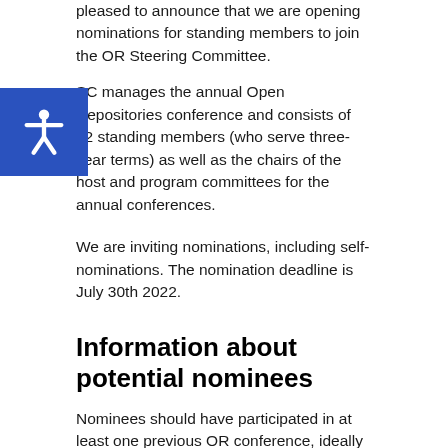pleased to announce that we are opening nominations for standing members to join the OR Steering Committee.
The SC manages the annual Open Repositories conference and consists of 12 standing members (who serve three-year terms) as well as the chairs of the host and program committees for the annual conferences.
We are inviting nominations, including self-nominations. The nomination deadline is July 30th 2022.
Information about potential nominees
Nominees should have participated in at least one previous OR conference, ideally have been a member of a program or host committee for an OR conference, and